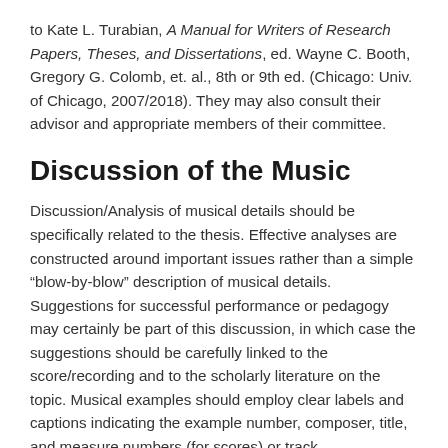to Kate L. Turabian, A Manual for Writers of Research Papers, Theses, and Dissertations, ed. Wayne C. Booth, Gregory G. Colomb, et. al., 8th or 9th ed. (Chicago: Univ. of Chicago, 2007/2018). They may also consult their advisor and appropriate members of their committee.
Discussion of the Music
Discussion/Analysis of musical details should be specifically related to the thesis. Effective analyses are constructed around important issues rather than a simple “blow-by-blow” description of musical details. Suggestions for successful performance or pedagogy may certainly be part of this discussion, in which case the suggestions should be carefully linked to the score/recording and to the scholarly literature on the topic. Musical examples should employ clear labels and captions indicating the example number, composer, title, and measure numbers (for scores) or track